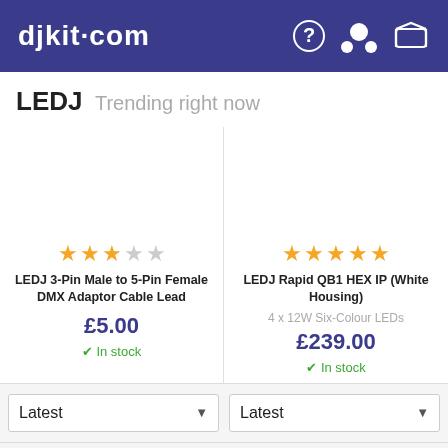djkit.com
LEDJ Trending right now
★★★☆☆ LEDJ 3-Pin Male to 5-Pin Female DMX Adaptor Cable Lead £5.00 In stock
★★★★★ LEDJ Rapid QB1 HEX IP (White Housing) 4 x 12W Six-Colour LEDs £239.00 In stock
Latest (dropdown) Latest (dropdown)